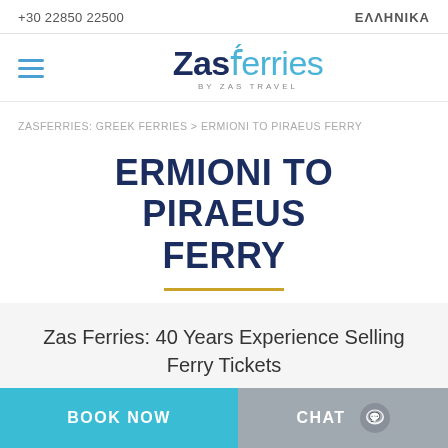+30 22850 22500   ΕΛΛΗΝΙΚΑ
[Figure (logo): ZasFerries by ZAS TRAVEL logo with hamburger menu icon]
ZASFERRIES: GREEK FERRIES > ERMIONI TO PIRAEUS FERRY
ERMIONI TO PIRAEUS FERRY
Zas Ferries: 40 Years Experience Selling Ferry Tickets